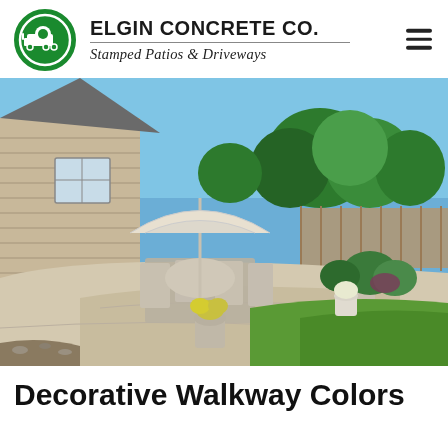ELGIN CONCRETE CO. — Stamped Patios & Driveways
[Figure (photo): Outdoor concrete patio of a residential home with patio furniture, an umbrella, potted yellow flowers, green lawn, shrubs, and trees in the background on a sunny day.]
Decorative Walkway Colors